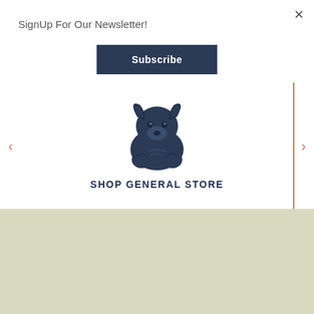×
SignUp For Our Newsletter!
Subscribe
[Figure (illustration): Dark navy blue dog/mascot face illustration with paws, facing forward]
SHOP GENERAL STORE
THE DAYTRIPPER IS BROUGHT TO YOU BY:
[Figure (logo): Ranch logo with house/roof icon and RANCH text in navy blue]
[Figure (logo): Rudy's logo in script/cursive navy blue lettering]